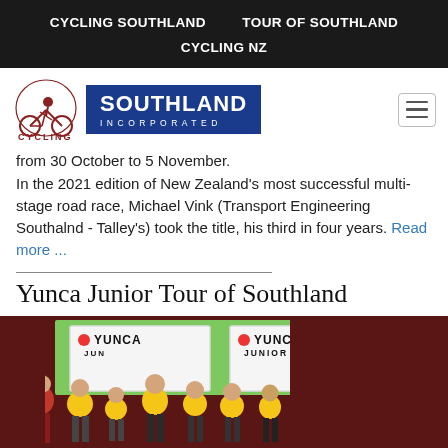CYCLING SOUTHLAND    TOUR OF SOUTHLAND    CYCLING NZ
[Figure (logo): Cycling Southland Incorporated logo with cyclist graphic and blue SOUTHLAND INCORPORATED badge]
from 30 October to 5 November.
In the 2021 edition of New Zealand's most successful multi-stage road race, Michael Vink (Transport Engineering Southalnd - Talley's) took the title, his third in four years. Read more ...
Yunca Junior Tour of Southland
[Figure (photo): Group photo of seven young cyclists in yellow Tour of Southland jerseys standing in front of Yunca Junior Tour of Southland banners with a green backdrop]